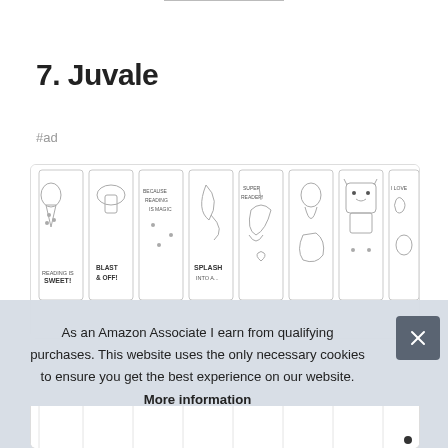7. Juvale
#ad
[Figure (photo): Row of coloring bookmarks with various designs including ice cream, rocket, dolphin, mermaid, dog, and other characters. Black and white line art style.]
As an Amazon Associate I earn from qualifying purchases. This website uses the only necessary cookies to ensure you get the best experience on our website. More information